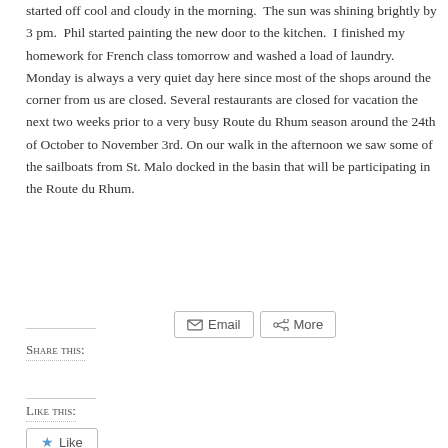started off cool and cloudy in the morning.  The sun was shining brightly by 3 pm.  Phil started painting the new door to the kitchen.  I finished my homework for French class tomorrow and washed a load of laundry.  Monday is always a very quiet day here since most of the shops around the corner from us are closed. Several restaurants are closed for vacation the next two weeks prior to a very busy Route du Rhum season around the 24th of October to November 3rd. On our walk in the afternoon we saw some of the sailboats from St. Malo docked in the basin that will be participating in the Route du Rhum.
Share this:
Like this:
Like